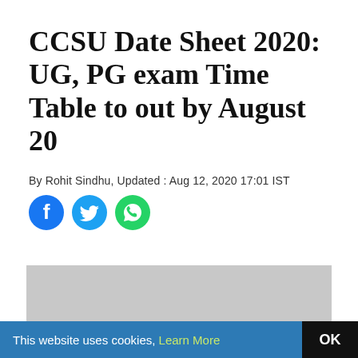CCSU Date Sheet 2020: UG, PG exam Time Table to out by August 20
By Rohit Sindhu, Updated : Aug 12, 2020 17:01 IST
[Figure (illustration): Social media share icons: Facebook, Twitter, WhatsApp in blue circles]
[Figure (photo): Gray placeholder image with a partial dark S-curve shape visible at bottom center]
This website uses cookies, Learn More  OK